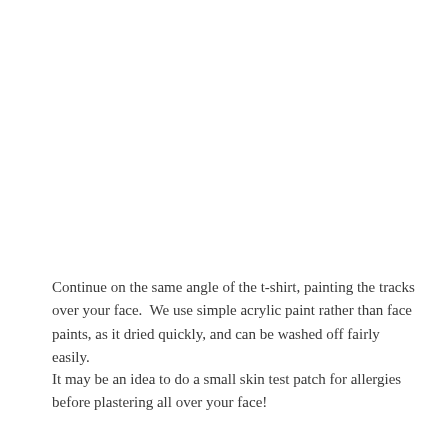Continue on the same angle of the t-shirt, painting the tracks over your face.  We use simple acrylic paint rather than face paints, as it dried quickly, and can be washed off fairly easily.
It may be an idea to do a small skin test patch for allergies before plastering all over your face!